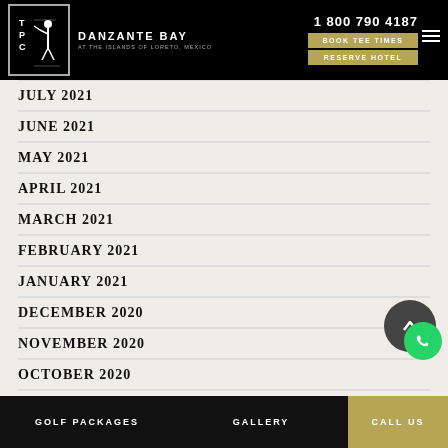[Figure (logo): TPC Danzante Bay at the Islands of Loreto, Mexico logo with phone number 1 800 790 4187, Book Tee Times and Reserve Hotel buttons]
JULY 2021
JUNE 2021
MAY 2021
APRIL 2021
MARCH 2021
FEBRUARY 2021
JANUARY 2021
DECEMBER 2020
NOVEMBER 2020
OCTOBER 2020
SEPTEMBER 2020
AUGUST 2020
GOLF PACKAGES    GALLERY    CALL US